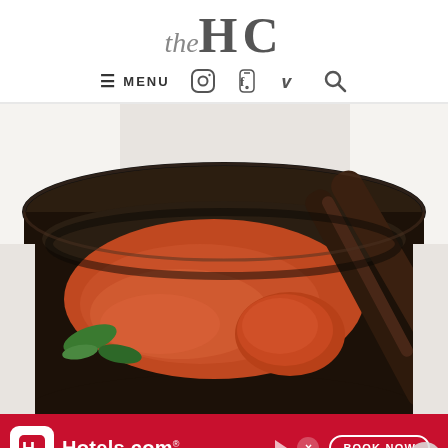theHC
≡ MENU  [Instagram] [Facebook] [Pinterest] [Search]
[Figure (photo): Overhead view of a black slow cooker with orange-red tomato-cream soup and a wooden ladle, with some green basil leaves visible]
[Figure (infographic): Hotels.com advertisement banner with red background, white Hotels.com logo icon and text, BOOK NOW button with white border, navigation and close icons]